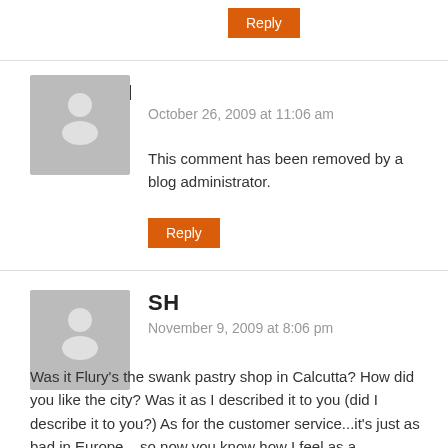Reply
VINESH
October 26, 2009 at 11:06 am
This comment has been removed by a blog administrator.
Reply
SH
November 9, 2009 at 8:06 pm
Was it Flury's the swank pastry shop in Calcutta? How did you like the city? Was it as I described it to you (did I describe it to you?) As for the customer service...it's just as bad in Europe... so now you know how I feel as a